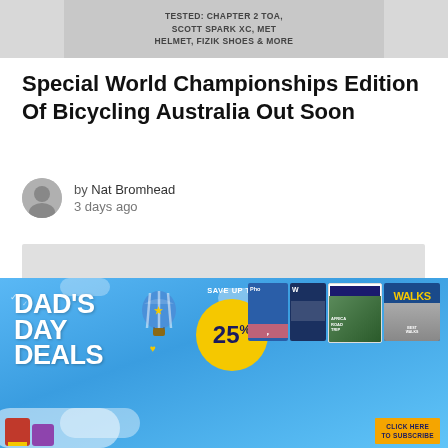[Figure (photo): Top banner showing bicycle gear with text: TESTED: CHAPTER 2 TOA, SCOTT SPARK XC, MET HELMET, FIZIK SHOES & MORE]
Special World Championships Edition Of Bicycling Australia Out Soon
by Nat Bromhead
3 days ago
[Figure (photo): Large grey placeholder image for the article content]
[Figure (infographic): Dad's Day Deals advertisement banner: Save up to 25% with magazine covers shown including Bicycling Australia and Walks, with Click Here to Subscribe button]